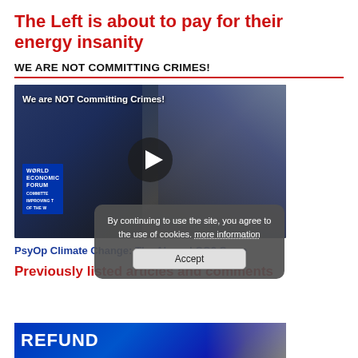The Left is about to pay for their energy insanity
WE ARE NOT COMMITTING CRIMES!
[Figure (screenshot): Video thumbnail showing a man with long hair in front of a World Economic Forum sign, with crowd scenes, overlaid with text 'We are NOT Committing Crimes!' and a play button]
PsyOp Climate Change: The Absurd CO2 Scam
Previously listed articles and comments
[Figure (screenshot): Partial bottom image showing blue background with white bold text beginning with 'REFUND' and a person's face on the right side]
By continuing to use the site, you agree to the use of cookies. more information
Accept